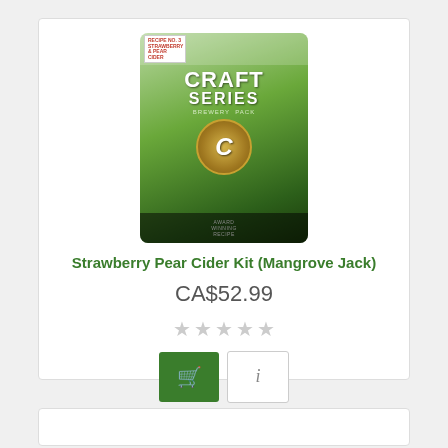[Figure (photo): Product image of Mangrove Jack Craft Series Strawberry Pear Cider Kit pouch bag, green and black packaging with gold medallion logo]
Strawberry Pear Cider Kit (Mangrove Jack)
CA$52.99
[Figure (illustration): Five empty star rating icons in grey]
[Figure (illustration): Two buttons: green shopping cart button and white info button with i icon]